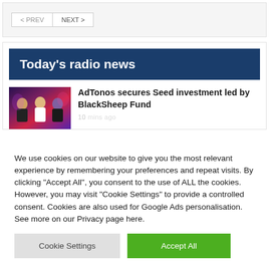< PREV   NEXT >
Today's radio news
AdTonos secures Seed investment led by BlackSheep Fund
[Figure (photo): Thumbnail photo of three people against a colorful background]
We use cookies on our website to give you the most relevant experience by remembering your preferences and repeat visits. By clicking "Accept All", you consent to the use of ALL the cookies. However, you may visit "Cookie Settings" to provide a controlled consent. Cookies are also used for Google Ads personalisation. See more on our Privacy page here.
Cookie Settings   Accept All